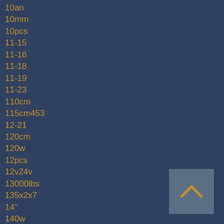10an
10mm
10pcs
11-15
11-16
11-18
11-19
11-23
110cm
115cm453
12-21
120cm
120w
12pcs
12v24v
13000lbs
135x2x7
14"
140w
14pcs
16-19
16-2021
17-20
18-19
18-20
1800w
180w
[Figure (other): Scroll to top button with upward chevron arrow icon]